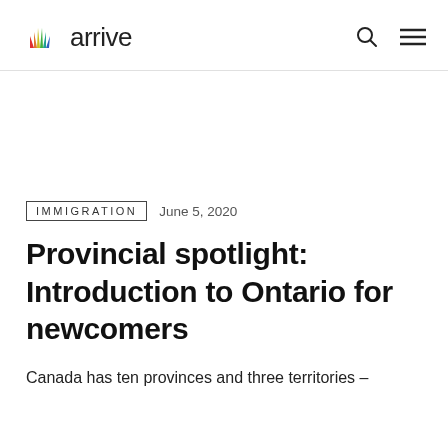arrive
IMMIGRATION   June 5, 2020
Provincial spotlight: Introduction to Ontario for newcomers
Canada has ten provinces and three territories –